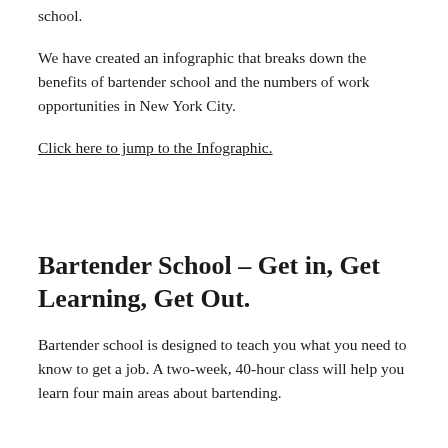school.
We have created an infographic that breaks down the benefits of bartender school and the numbers of work opportunities in New York City.
Click here to jump to the Infographic.
Bartender School – Get in, Get Learning, Get Out.
Bartender school is designed to teach you what you need to know to get a job. A two-week, 40-hour class will help you learn four main areas about bartending.